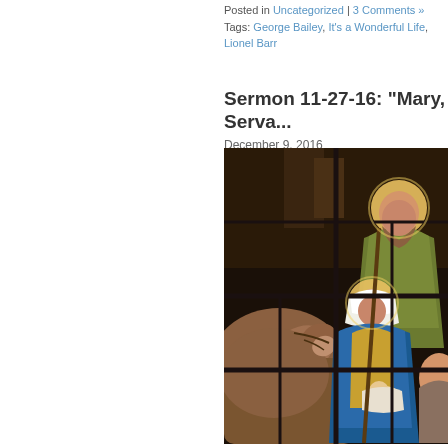Posted in Uncategorized | 3 Comments »
Tags: George Bailey, It's a Wonderful Life, Lionel Barr...
Sermon 11-27-16: “Mary, Serva...
December 9, 2016
[Figure (photo): A stained glass window depicting the Nativity scene with Joseph (with halo), Mary (with halo) holding the baby Jesus, a donkey on the left, and other figures, set against a dark background with lead came grid lines.]